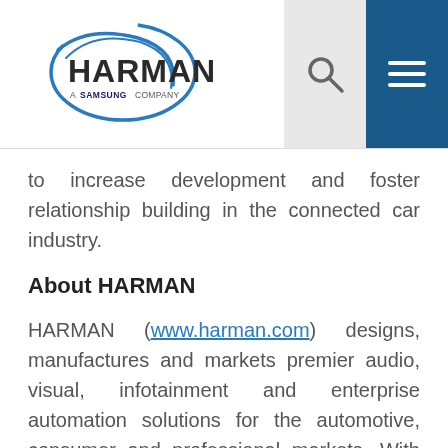[Figure (logo): HARMAN - A Samsung Company logo with blue swoosh arcs]
to increase development and foster relationship building in the connected car industry.
About HARMAN
HARMAN (www.harman.com) designs, manufactures and markets premier audio, visual, infotainment and enterprise automation solutions for the automotive, consumer and professional markets. With leading brands including AKG®, Harman Kardon®, Infinity®, JBL®, Lexicon®, Mark Levinson ® and Revel®, the Company is admired by audiophiles, musicians and the entertainment venues where they perform. More than 25 million automobiles on the